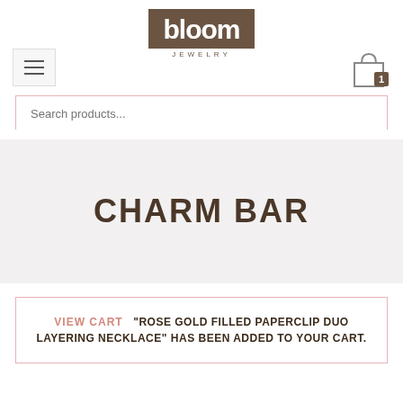[Figure (logo): Bloom Jewelry logo — dark brown rectangular background with white bold italic text 'bloom' and 'JEWELRY' in brown letters below]
[Figure (other): Hamburger menu icon (three horizontal lines) inside a light gray bordered square]
[Figure (other): Shopping bag cart icon with number 1 badge in dark brown]
Search products...
CHARM BAR
VIEW CART  "ROSE GOLD FILLED PAPERCLIP DUO LAYERING NECKLACE" HAS BEEN ADDED TO YOUR CART.